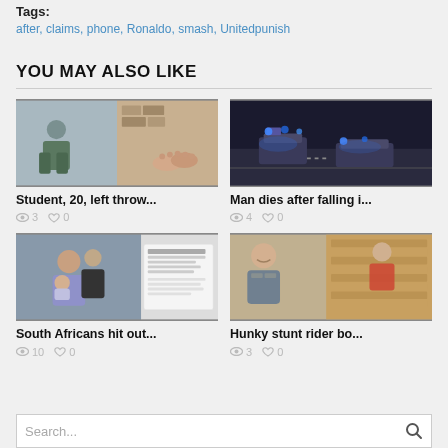Tags:
after, claims, phone, Ronaldo, smash, Unitedpunish
YOU MAY ALSO LIKE
[Figure (photo): Student in outdoor setting with stone wall, paired with close-up of feet/toes]
Student, 20, left throw...
3 views, 0 likes
[Figure (photo): Aerial night view of street with emergency vehicles and blue lights]
Man dies after falling i...
4 views, 0 likes
[Figure (photo): Woman holding baby with man in suit, alongside screenshot of social media post]
South Africans hit out...
10 views, 0 likes
[Figure (photo): Man in medieval armor smiling, with another person in costume and stacked wooden pallets]
Hunky stunt rider bo...
3 views, 0 likes